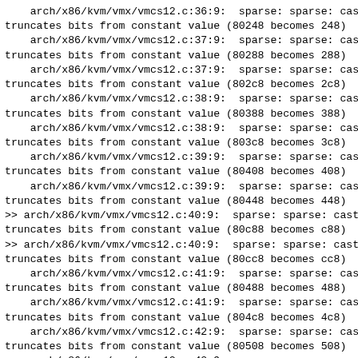arch/x86/kvm/vmx/vmcs12.c:36:9:  sparse: sparse: cast truncates bits from constant value (80248 becomes 248)
    arch/x86/kvm/vmx/vmcs12.c:37:9:  sparse: sparse: cast truncates bits from constant value (80288 becomes 288)
    arch/x86/kvm/vmx/vmcs12.c:37:9:  sparse: sparse: cast truncates bits from constant value (802c8 becomes 2c8)
    arch/x86/kvm/vmx/vmcs12.c:38:9:  sparse: sparse: cast truncates bits from constant value (80388 becomes 388)
    arch/x86/kvm/vmx/vmcs12.c:38:9:  sparse: sparse: cast truncates bits from constant value (803c8 becomes 3c8)
    arch/x86/kvm/vmx/vmcs12.c:39:9:  sparse: sparse: cast truncates bits from constant value (80408 becomes 408)
    arch/x86/kvm/vmx/vmcs12.c:39:9:  sparse: sparse: cast truncates bits from constant value (80448 becomes 448)
>> arch/x86/kvm/vmx/vmcs12.c:40:9:  sparse: sparse: cast truncates bits from constant value (80c88 becomes c88)
>> arch/x86/kvm/vmx/vmcs12.c:40:9:  sparse: sparse: cast truncates bits from constant value (80cc8 becomes cc8)
    arch/x86/kvm/vmx/vmcs12.c:41:9:  sparse: sparse: cast truncates bits from constant value (80488 becomes 488)
    arch/x86/kvm/vmx/vmcs12.c:41:9:  sparse: sparse: cast truncates bits from constant value (804c8 becomes 4c8)
    arch/x86/kvm/vmx/vmcs12.c:42:9:  sparse: sparse: cast truncates bits from constant value (80508 becomes 508)
    arch/x86/kvm/vmx/vmcs12.c:42:9:  sparse: sparse: cast truncates bits from constant value (80548 becomes 548)
    arch/x86/kvm/vmx/vmcs12.c:43:9:  sparse: sparse: cast truncates bits from constant value (80588 becomes 588)
    arch/x86/kvm/vmx/vmcs12.c:43:9:  sparse: sparse: cast truncates bits from constant value (805c8 becomes 5c8)